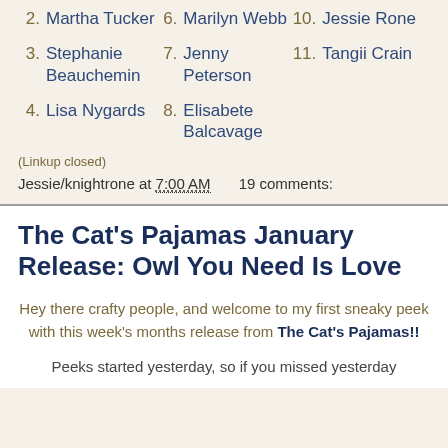2. Martha Tucker
3. Stephanie Beauchemin
4. Lisa Nygards
6. Marilyn Webb
7. Jenny Peterson
8. Elisabete Balcavage
10. Jessie Rone
11. Tangii Crain
(Linkup closed)
Jessie/knightrone at 7:00 AM   19 comments:
The Cat's Pajamas January Release: Owl You Need Is Love
Hey there crafty people, and welcome to my first sneaky peek with this week's months release from The Cat's Pajamas!!
Peeks started yesterday, so if you missed yesterday